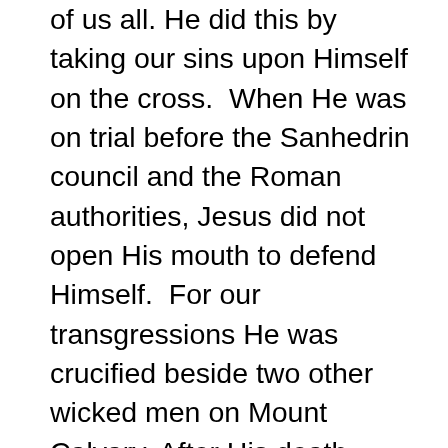of us all. He did this by taking our sins upon Himself on the cross.  When He was on trial before the Sanhedrin council and the Roman authorities, Jesus did not open His mouth to defend Himself.  For our transgressions He was crucified beside two other wicked men on Mount Calvary. After His death, Joseph of Arimathea and Nicodemus took the body of Jesus, prepared it for burial, and placed it in a rich man's tomb.  Jesus had done no violence; there was no deceit found in His mouth.  Yet, God caused Him to suffer on the cross as a sin offering for all of us.  Many are justified by the death of Jesus.  He bore our iniquities.  Therefore God has highly exalted Jesus.  Jesus gave Himself to die for us.  He was condemned like a wicked man.  He bore the sins